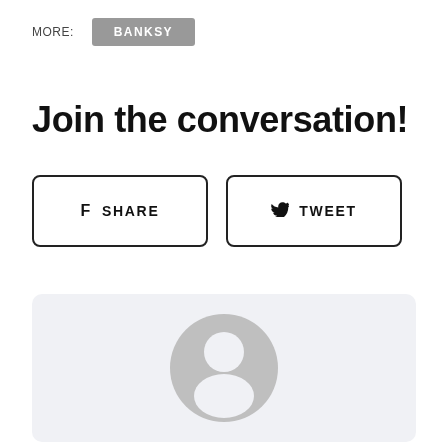MORE:
BANKSY
Join the conversation!
f  SHARE
TWEET
[Figure (illustration): Default user avatar placeholder icon — grey circle with white silhouette of a person (head and shoulders), shown inside a light grey rounded card.]